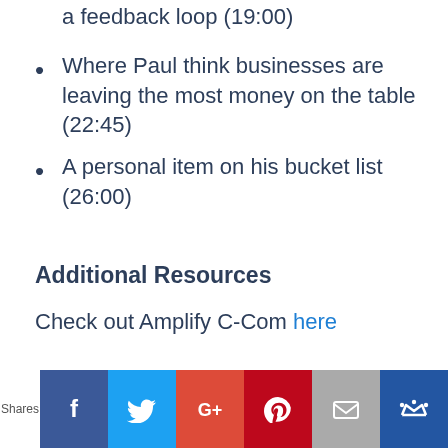a feedback loop (19:00)
Where Paul think businesses are leaving the most money on the table (22:45)
A personal item on his bucket list (26:00)
Additional Resources
Check out Amplify C-Com here
Shares | Facebook | Twitter | Google+ | Pinterest | Email | Crown